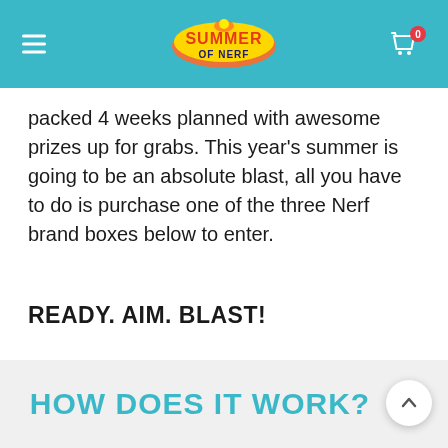Summer of Nerf
packed 4 weeks planned with awesome prizes up for grabs. This year's summer is going to be an absolute blast, all you have to do is purchase one of the three Nerf brand boxes below to enter.
READY. AIM. BLAST!
HOW DOES IT WORK?